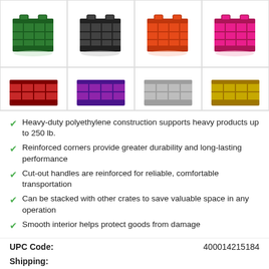[Figure (photo): Product image grid showing plastic milk crates in 8 colors: green, dark gray/black, orange/red, pink (top row); red, purple, gray, yellow (bottom row, partially visible)]
Heavy-duty polyethylene construction supports heavy products up to 250 lb.
Reinforced corners provide greater durability and long-lasting performance
Cut-out handles are reinforced for reliable, comfortable transportation
Can be stacked with other crates to save valuable space in any operation
Smooth interior helps protect goods from damage
UPC Code:    400014215184
Shipping:
Usually Ships in 7 Business Days